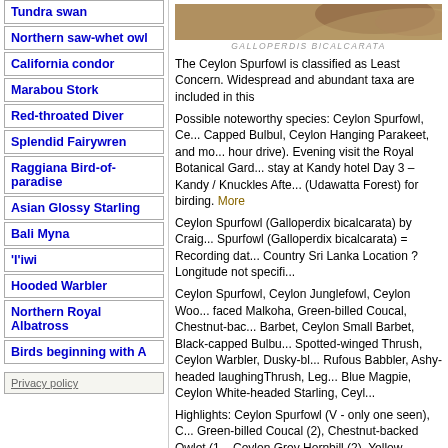Tundra swan
Northern saw-whet owl
California condor
Marabou Stork
Red-throated Diver
Splendid Fairywren
Raggiana Bird-of-paradise
Asian Glossy Starling
Bali Myna
'I'iwi
Hooded Warbler
Northern Royal Albatross
Birds beginning with A
Privacy policy
[Figure (photo): Partial image of Ceylon Spurfowl bird, brownish plumage visible at top right]
GALLOPERDIS BICALCARATA
The Ceylon Spurfowl is classified as Least Concern. Widespread and abundant taxa are included in this
Possible noteworthy species: Ceylon Spurfowl, Ce... Capped Bulbul, Ceylon Hanging Parakeet, and mo... hour drive). Evening visit the Royal Botanical Gard... stay at Kandy hotel Day 3 – Kandy / Knuckles Afte... (Udawatta Forest) for birding. More
Ceylon Spurfowl (Galloperdix bicalcarata) by Craig... Spurfowl (Galloperdix bicalcarata) = Recording dat... Country Sri Lanka Location ? Longitude not specifi...
Ceylon Spurfowl, Ceylon Junglefowl, Ceylon Woo... faced Malkoha, Green-billed Coucal, Chestnut-bac... Barbet, Ceylon Small Barbet, Black-capped Bulbu... Spotted-winged Thrush, Ceylon Warbler, Dusky-bl... Rufous Babbler, Ashy-headed laughingThrush, Leg... Blue Magpie, Ceylon White-headed Starling, Ceyl...
Highlights: Ceylon Spurfowl (V - only one seen), C... Green-billed Coucal (2), Chestnut-backed Owlet (1... Ceylon Grey Hornbill (2), Yellow-fronted Barbet (2)... Cuckooshrike (1 - near Citicen Rest), Brown-cappe... Blue-Flycatcher (2), Brown-breasted Flycatcher (2)...